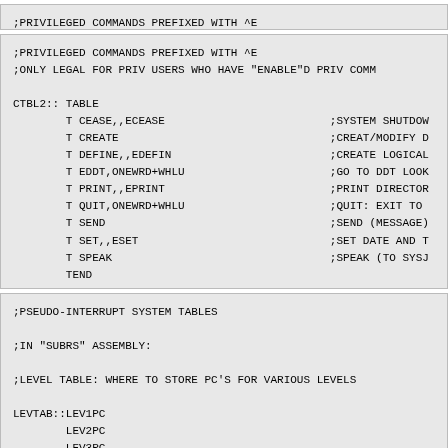;PRIVILEGED COMMANDS PREFIXED WITH ^E ;ONLY LEGAL FOR PRIV USERS WHO HAVE "ENABLE"D PRIV COMM
CTBL2:: TABLE
        T CEASE,,ECEASE                         ;SYSTEM SHUTDOW
        T CREATE                                ;CREAT/MODIFY D
        T DEFINE,,EDEFIN                        ;CREATE LOGICAL
        T EDDT,ONEWRD+WHLU                      ;GO TO DDT LOOK
        T PRINT,,EPRINT                         ;PRINT DIRECTOR
        T QUIT,ONEWRD+WHLU                      ;QUIT: EXIT TO 
        T SEND                                  ;SEND (MESSAGE)
        T SET,,ESET                             ;SET DATE AND T
        T SPEAK                                 ;SPEAK (TO SYSJ
        TEND
;PSEUDO-INTERRUPT SYSTEM TABLES

;IN "SUBRS" ASSEMBLY:

;LEVEL TABLE: WHERE TO STORE PC'S FOR VARIOUS LEVELS

LEVTAB::LEV1PC
        LEV2PC
        LEV3PC